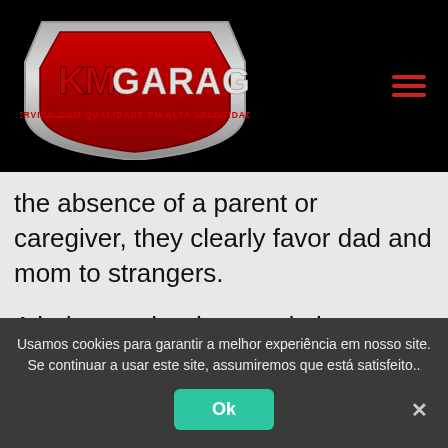[Figure (logo): KM Garage logo — red and silver shield with 'KM GARAGE' text and tagline 'SERVIÇO COM QUALIDADE EM ALTA VELOCIDADE' on black background, with red hamburger menu icon top right]
the absence of a parent or caregiver, they clearly favor dad and mom to strangers.
A judgment is what we do in our heads consciously, to determine out how to answer the emotional trigger taking place in the moment. What about if you
Usamos cookies para garantir a melhor experiência em nosso site. Se continuar a usar este site, assumiremos que está satisfeito..
Ok